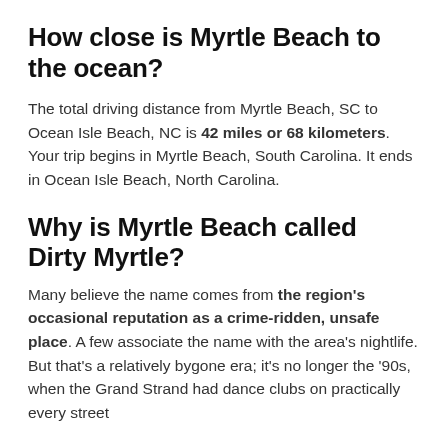How close is Myrtle Beach to the ocean?
The total driving distance from Myrtle Beach, SC to Ocean Isle Beach, NC is 42 miles or 68 kilometers. Your trip begins in Myrtle Beach, South Carolina. It ends in Ocean Isle Beach, North Carolina.
Why is Myrtle Beach called Dirty Myrtle?
Many believe the name comes from the region's occasional reputation as a crime-ridden, unsafe place. A few associate the name with the area's nightlife. But that's a relatively bygone era; it's no longer the '90s, when the Grand Strand had dance clubs on practically every street